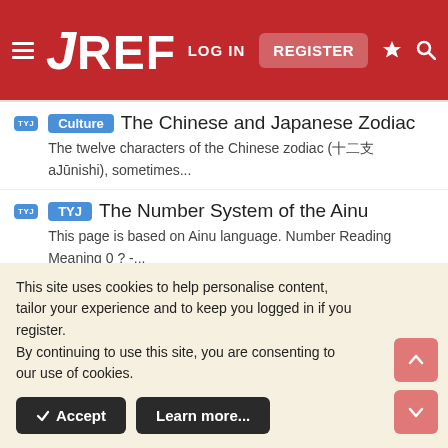JREF — LOG IN | REGISTER
Culture | The Chinese and Japanese Zodiac — The twelve characters of the Chinese zodiac (十二支 aJūnishi), sometimes...
TYJ | The Number System of the Ainu — This page is based on Ainu language. Number Reading Meaning 0 ? -...
TYJ | The Number System of Ancient Japanese — The number system of ancient Japanese is not used now except 1 through...
TYJ | Dialogue 2 — 9.2. Dialogue 2 In this dialogue. Shō meets two students from
This site uses cookies to help personalise content, tailor your experience and to keep you logged in if you register. By continuing to use this site, you are consenting to our use of cookies.